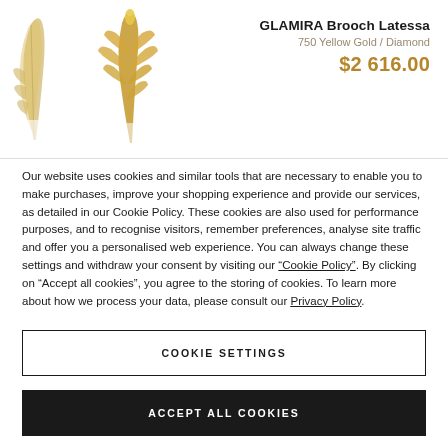[Figure (photo): Two gold feather/leaf brooch jewelry items displayed against white background, shown partially cropped]
GLAMIRA Brooch Latessa
750 Yellow Gold / Diamond
$2 616.00
Our website uses cookies and similar tools that are necessary to enable you to make purchases, improve your shopping experience and provide our services, as detailed in our Cookie Policy. These cookies are also used for performance purposes, and to recognise visitors, remember preferences, analyse site traffic and offer you a personalised web experience. You can always change these settings and withdraw your consent by visiting our “Cookie Policy”. By clicking on “Accept all cookies”, you agree to the storing of cookies. To learn more about how we process your data, please consult our Privacy Policy.
COOKIE SETTINGS
ACCEPT ALL COOKIES